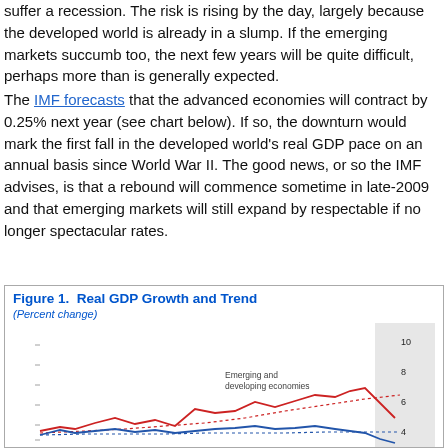suffer a recession. The risk is rising by the day, largely because the developed world is already in a slump. If the emerging markets succumb too, the next few years will be quite difficult, perhaps more than is generally expected. The IMF forecasts that the advanced economies will contract by 0.25% next year (see chart below). If so, the downturn would mark the first fall in the developed world's real GDP pace on an annual basis since World War II. The good news, or so the IMF advises, is that a rebound will commence sometime in late-2009 and that emerging markets will still expand by respectable if no longer spectacular rates.
[Figure (line-chart): Line chart showing Real GDP Growth and Trend (Percent change). Two solid lines (red and blue) and two dotted trend lines. Red line labeled 'Emerging and developing economies' rises to about 8-9% before falling. Blue line represents advanced economies near 4%. Y-axis scale visible on right side showing values up to 10, 8, 6, 4. Shaded region on right side indicates forecast period.]